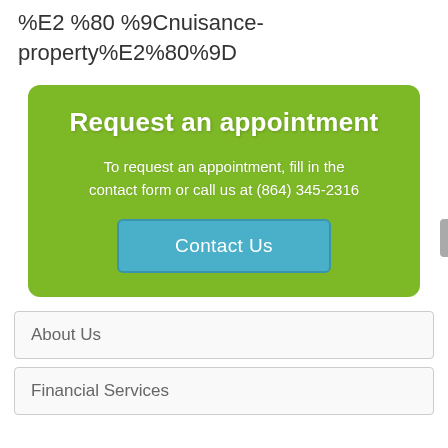%E2%80%9Cnuisance-property%E2%80%9D
Request an appointment
To request an appointment, fill in the contact form or call us at (864) 345-2316
Contact Us
About Us
Financial Services